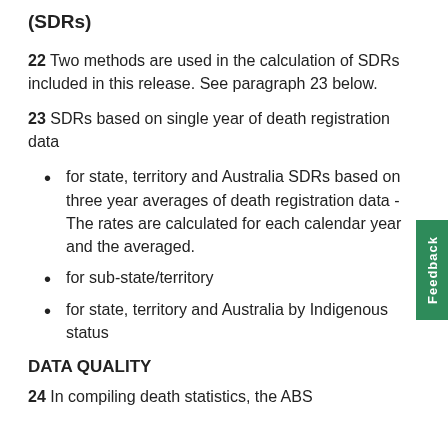(SDRs)
22 Two methods are used in the calculation of SDRs included in this release. See paragraph 23 below.
23 SDRs based on single year of death registration data
for state, territory and Australia SDRs based on three year averages of death registration data - The rates are calculated for each calendar year and the averaged.
for sub-state/territory
for state, territory and Australia by Indigenous status
DATA QUALITY
24 In compiling death statistics, the ABS